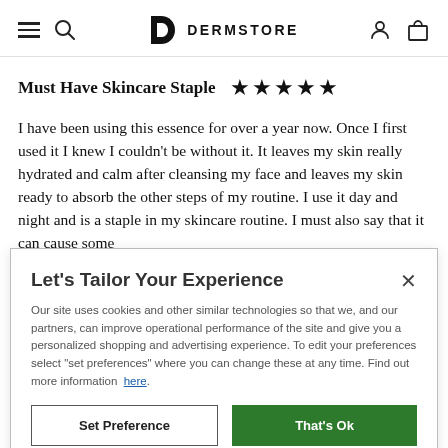DERMSTORE
Must Have Skincare Staple ★★★★★
I have been using this essence for over a year now. Once I first used it I knew I couldn't be without it. It leaves my skin really hydrated and calm after cleansing my face and leaves my skin ready to absorb the other steps of my routine. I use it day and night and is a staple in my skincare routine. I must also say that it can cause some
Let's Tailor Your Experience
Our site uses cookies and other similar technologies so that we, and our partners, can improve operational performance of the site and give you a personalized shopping and advertising experience. To edit your preferences select "set preferences" where you can change these at any time. Find out more information here.